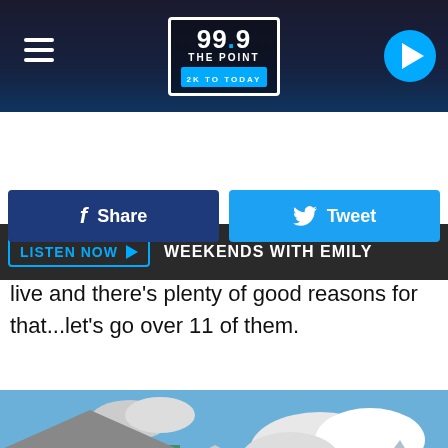99.9 THE POINT — 2K TO TODAY
LISTEN NOW ▶  WEEKENDS WITH EMILY
[Figure (screenshot): Facebook Share button (dark blue) and Twitter Tweet button (light blue)]
live and there's plenty of good reasons for that...let's go over 11 of them.
[Figure (photo): Outdoor shopping district with rustic wooden buildings, bare winter trees, blue sky with clouds, red vendor tent, and crowd of people.]